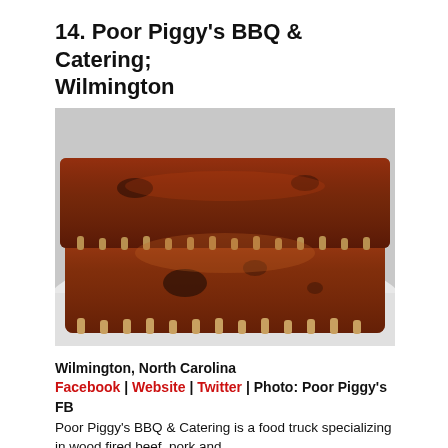14. Poor Piggy's BBQ & Catering; Wilmington
[Figure (photo): Photo of BBQ pork ribs on a white plate, showing two racks of smoked ribs with a dark reddish-brown crust, glistening with sauce, viewed from above and slightly to the side.]
Wilmington, North Carolina
Facebook | Website | Twitter | Photo: Poor Piggy's FB
Poor Piggy's BBQ & Catering is a food truck specializing in wood fired beef, pork and